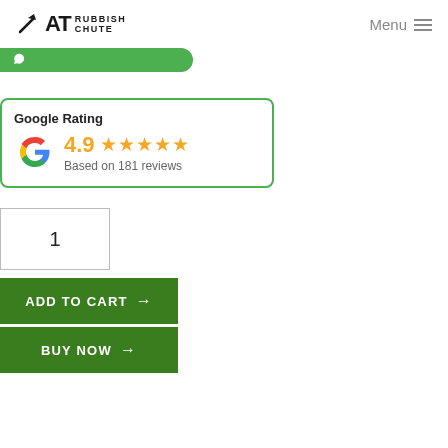[Figure (logo): AT Rubbish Chute logo with axe/tool icon and text RUBBISH CHUTE]
[Figure (illustration): WhatsApp green chat bubble bar partially visible at top]
[Figure (infographic): Google Rating card showing 4.9 stars based on 181 reviews with Google G logo]
1
ADD TO CART →
BUY NOW →